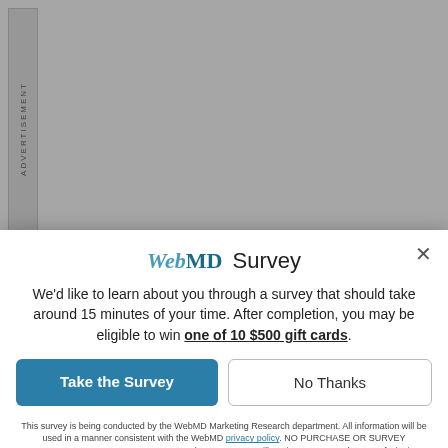[Figure (other): Advertisement banner placeholder on left side of page, vertical text reading ADVERTISEMENT]
dose appeared in the urine. The was the O-conjugate of temaze Oconjugate of N-desmethyl tem
WebMD Survey
We'd like to learn about you through a survey that should take around 15 minutes of your time. After completion, you may be eligible to win one of 10 $500 gift cards.
Take the Survey
No Thanks
This survey is being conducted by the WebMD Marketing Research department. All information will be used in a manner consistent with the WebMD privacy policy. NO PURCHASE OR SURVEY NECESSARY TO ENTER OR WIN. A purchase or survey will not increase your chances of winning. Open to legal residents of the fifty (50) United States, and the District of Columbia (DC) who are age 18 or older, and to whom this offer is addressed. Sweepstakes starts at 12:00:01 AM ET on 1/24/22 and ends at 11:59:59 PM ET on 12/31/22. See Official Rules for complete details and alternate method of entry. Void where prohibited. SPONSOR: WebMD LLC.